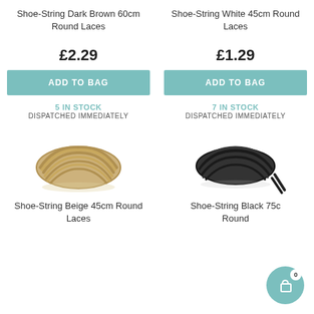Shoe-String Dark Brown 60cm Round Laces
Shoe-String White 45cm Round Laces
£2.29
£1.29
ADD TO BAG
ADD TO BAG
5 IN STOCK
DISPATCHED IMMEDIATELY
7 IN STOCK
DISPATCHED IMMEDIATELY
[Figure (photo): Beige/tan round shoe laces coiled in a bundle]
[Figure (photo): Black round shoe laces coiled in a bundle with two ends visible]
Shoe-String Beige 45cm Round Laces
Shoe-String Black 75c Round